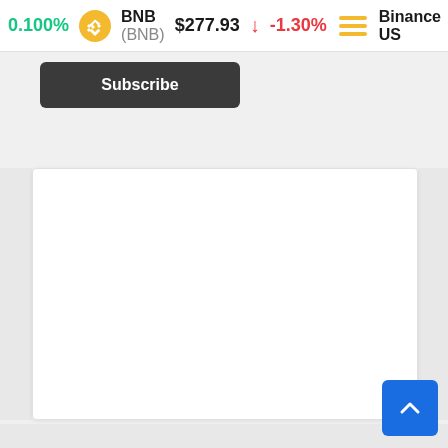0.100%  BNB (BNB) $277.93 ↓ -1.30%  Binance US
[Figure (screenshot): Cryptocurrency price ticker bar showing BNB (BNB) at $277.93 with -1.30% change in red, alongside Binance US logo. Partial green percentage 0.100% visible on left.]
Subscribe
[Figure (other): White content card area (empty/blank) - main page content region with light border]